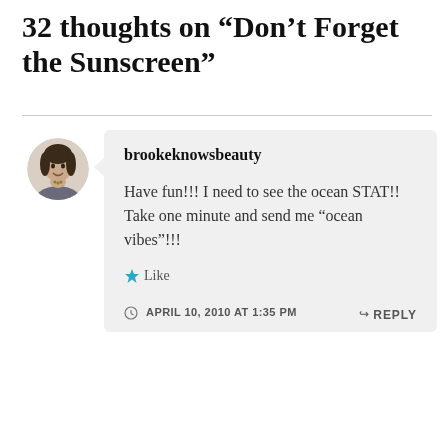32 thoughts on “Don’t Forget the Sunscreen”
brookeknowsbeauty
Have fun!!! I need to see the ocean STAT!! Take one minute and send me “ocean vibes”!!!
Like
APRIL 10, 2010 AT 1:35 PM
REPLY